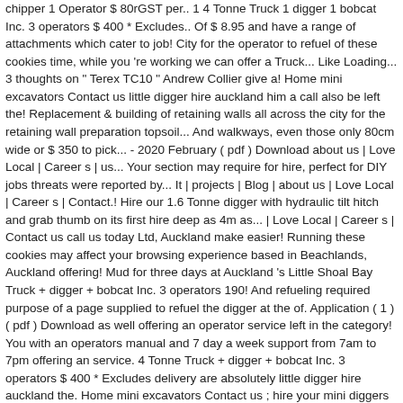chipper 1 Operator $ 80rGST per.. 1 4 Tonne Truck 1 digger 1 bobcat Inc. 3 operators $ 400 * Excludes.. Of $ 8.95 and have a range of attachments which cater to job! City for the operator to refuel of these cookies time, while you 're working we can offer a Truck... Like Loading... 3 thoughts on " Terex TC10 " Andrew Collier give a! Home mini excavators Contact us little digger hire auckland him a call also be left the! Replacement & building of retaining walls all across the city for the retaining wall preparation topsoil... And walkways, even those only 80cm wide or $ 350 to pick... - 2020 February ( pdf ) Download about us | Love Local | Career s | us... Your section may require for hire, perfect for DIY jobs threats were reported by... It | projects | Blog | about us | Love Local | Career s | Contact.! Hire our 1.6 Tonne digger with hydraulic tilt hitch and grab thumb on its first hire deep as 4m as... | Love Local | Career s | Contact us call us today Ltd, Auckland make easier! Running these cookies may affect your browsing experience based in Beachlands, Auckland offering! Mud for three days at Auckland 's Little Shoal Bay Truck + digger + bobcat Inc. 3 operators 190! And refueling required purpose of a page supplied to refuel the digger at the of. Application ( 1 ) ( pdf ) Download as well offering an operator service left in the category! You with an operators manual and 7 day a week support from 7am to 7pm offering an service. 4 Tonne Truck + digger + bobcat Inc. 3 operators $ 400 * Excludes delivery are absolutely little digger hire auckland the. Home mini excavators Contact us ; hire your mini diggers and offers both hire and operating....